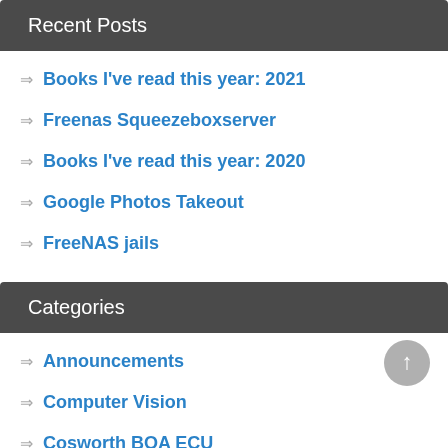Recent Posts
Books I've read this year: 2021
Freenas Squeezeboxserver
Books I've read this year: 2020
Google Photos Takeout
FreeNAS jails
Categories
Announcements
Computer Vision
Cosworth BOA ECU
Diving